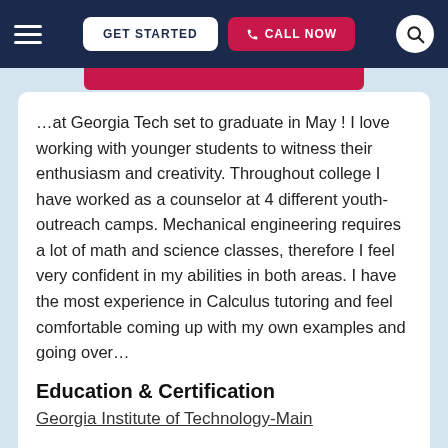GET STARTED | CALL NOW
…at Georgia Tech set to graduate in May ! I love working with younger students to witness their enthusiasm and creativity. Throughout college I have worked as a counselor at 4 different youth-outreach camps. Mechanical engineering requires a lot of math and science classes, therefore I feel very confident in my abilities in both areas. I have the most experience in Calculus tutoring and feel comfortable coming up with my own examples and going over…
Education & Certification
Georgia Institute of Technology-Main